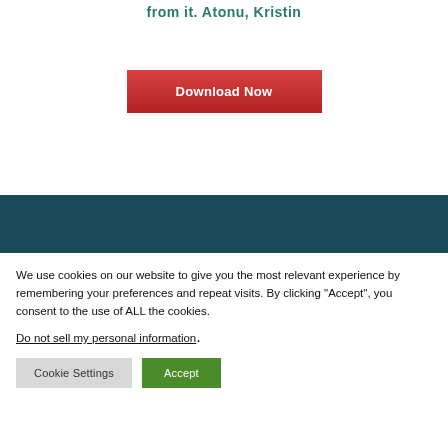from it. Atonu, Kristin
[Figure (other): Red 'Download Now' button]
[Figure (other): Teal/dark blue horizontal band divider]
We use cookies on our website to give you the most relevant experience by remembering your preferences and repeat visits. By clicking "Accept", you consent to the use of ALL the cookies.
Do not sell my personal information.
Cookie Settings
Accept